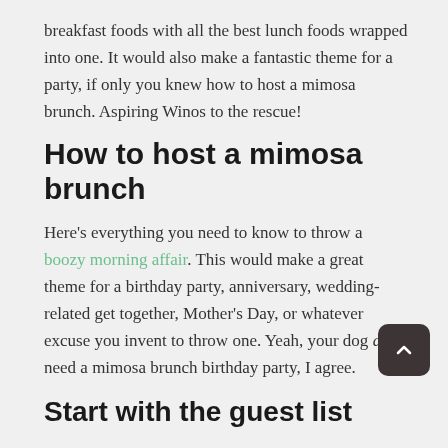breakfast foods with all the best lunch foods wrapped into one. It would also make a fantastic theme for a party, if only you knew how to host a mimosa brunch. Aspiring Winos to the rescue!
How to host a mimosa brunch
Here's everything you need to know to throw a boozy morning affair. This would make a great theme for a birthday party, anniversary, wedding-related get together, Mother's Day, or whatever excuse you invent to throw one. Yeah, your dog does need a mimosa brunch birthday party, I agree.
Start with the guest list